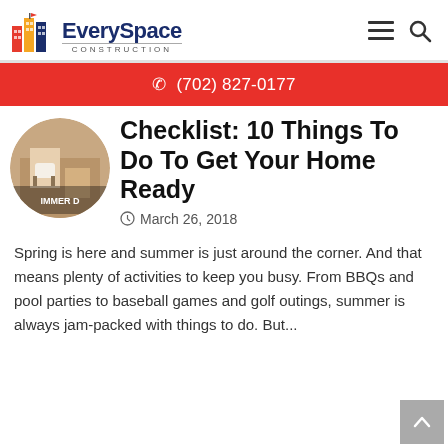EverySpace CONSTRUCTION  ☰ 🔍
☎ (702) 827-0177
Checklist: 10 Things To Do To Get Your Home Ready
March 26, 2018
Spring is here and summer is just around the corner. And that means plenty of activities to keep you busy. From BBQs and pool parties to baseball games and golf outings, summer is always jam-packed with things to do. But...